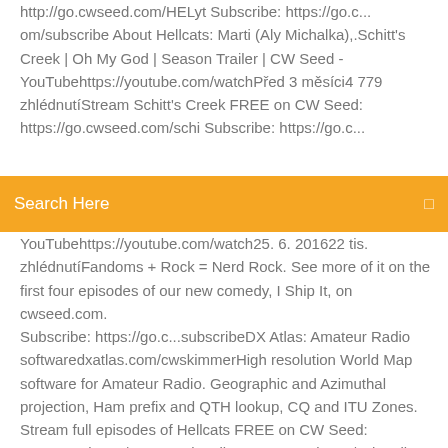http://go.cwseed.com/HELyt Subscribe: https://go.c...om/subscribe About Hellcats: Marti (Aly Michalka),.Schitt's Creek | Oh My God | Season Trailer | CW Seed - YouTubehttps://youtube.com/watchPřed 3 měsíci4 779 zhlédnutíStream Schitt's Creek FREE on CW Seed: https://go.cwseed.com/schi Subscribe: https://go.c...
[Figure (screenshot): Search bar with orange background and text 'Search Here' with a search icon on the right]
YouTubehttps://youtube.com/watch25. 6. 201622 tis. zhlédnutíFandoms + Rock = Nerd Rock. See more of it on the first four episodes of our new comedy, I Ship It, on cwseed.com. Subscribe: https://go.c...subscribeDX Atlas: Amateur Radio softwaredxatlas.com/cwskimmerHigh resolution World Map software for Amateur Radio. Geographic and Azimuthal projection, Ham prefix and QTH lookup, CQ and ITU Zones. Stream full episodes of Hellcats FREE on CW Seed: go.cwseed.com/HELyt Subscribe: go.cwseed.com/subscribe About Hellcats: Marti (Aly Michalka), a pre-law student, loses